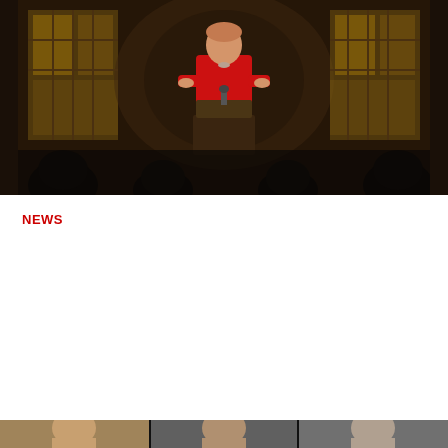[Figure (photo): Woman in red jacket speaking at a podium in front of a stained glass window background, with audience silhouettes visible]
NEWS
SUU Presidential Search Committee announces finalists
The Southern Utah University Presidential Search Committee has officially recommended Mindy Benson, Mablene Krueger and Alan Utter as finalists for the position of University President.
[Figure (photo): Three finalist portrait photos side by side: a woman with short blonde hair, a woman with glasses and medium-length hair, and a man with short gray hair]